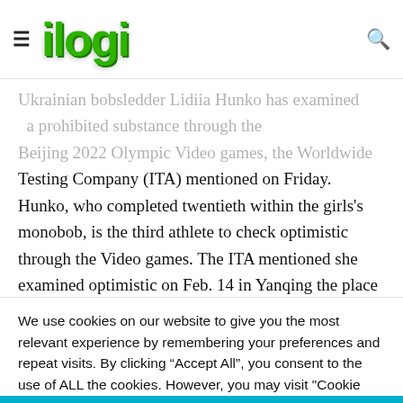ilogi
Ukrainian bobsledder Lidiia Hunko has examined ... Testing Company (ITA) mentioned on Friday. Hunko, who completed twentieth within the girls's monobob, is the third athlete to check optimistic through the Video games. The ITA mentioned she examined optimistic on Feb. 14 in Yanqing the place the competitors happened and she or he had been suspended provisionally. “The athlete additionally has
We use cookies on our website to give you the most relevant experience by remembering your preferences and repeat visits. By clicking “Accept All”, you consent to the use of ALL the cookies. However, you may visit "Cookie Settings" to provide a controlled consent.